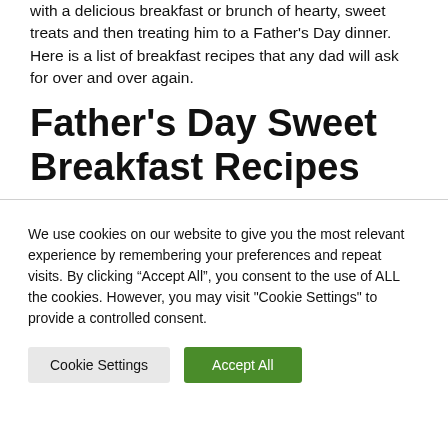with a delicious breakfast or brunch of hearty, sweet treats and then treating him to a Father's Day dinner. Here is a list of breakfast recipes that any dad will ask for over and over again.
Father's Day Sweet Breakfast Recipes
We use cookies on our website to give you the most relevant experience by remembering your preferences and repeat visits. By clicking “Accept All”, you consent to the use of ALL the cookies. However, you may visit "Cookie Settings" to provide a controlled consent.